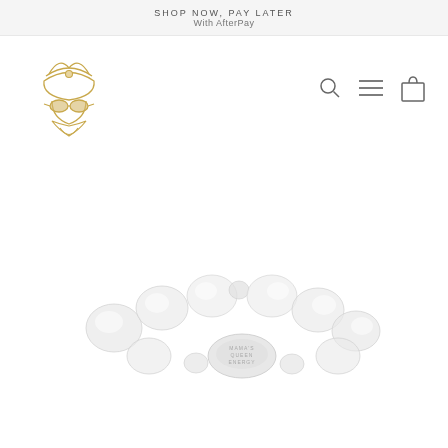SHOP NOW, PAY LATER
With AfterPay
[Figure (logo): Fashion brand logo: gold illustrated face with turban, sunglasses, and diamond chin shape]
[Figure (illustration): Navigation icons: search magnifying glass, hamburger menu lines, shopping bag]
[Figure (photo): Product photo: white/clear beaded bracelet with engraved disc charm, on white background]